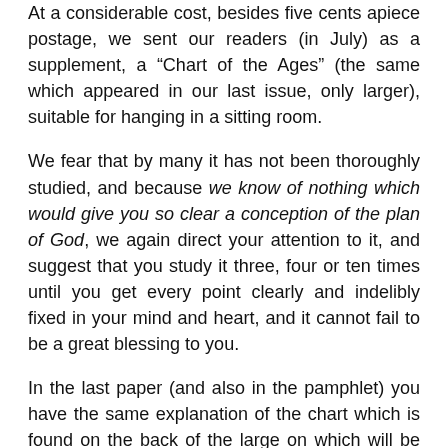At a considerable cost, besides five cents apiece postage, we sent our readers (in July) as a supplement, a “Chart of the Ages” (the same which appeared in our last issue, only larger), suitable for hanging in a sitting room.
We fear that by many it has not been thoroughly studied, and because we know of nothing which would give you so clear a conception of the plan of God, we again direct your attention to it, and suggest that you study it three, four or ten times until you get every point clearly and indelibly fixed in your mind and heart, and it cannot fail to be a great blessing to you.
In the last paper (and also in the pamphlet) you have the same explanation of the chart which is found on the back of the large on which will be found a more convenient form f study.